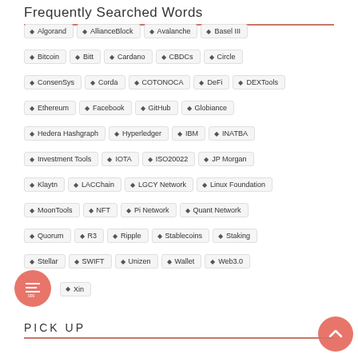Frequently Searched Words
Algorand
AllianceBlock
Avalanche
Basel III
Bitcoin
Bitt
Cardano
CBDCs
Circle
ConsenSys
Corda
COTONOCA
DeFi
DEXTools
Ethereum
Facebook
GitHub
Globiance
Hedera Hashgraph
Hyperledger
IBM
INATBA
Investment Tools
IOTA
ISO20022
JP Morgan
Klaytn
LACChain
LGCY Network
Linux Foundation
MoonTools
NFT
Pi Network
Quant Network
Quorum
R3
Ripple
Stablecoins
Staking
Stellar
SWIFT
Unizen
Wallet
Web3.0
Xin
PICK UP